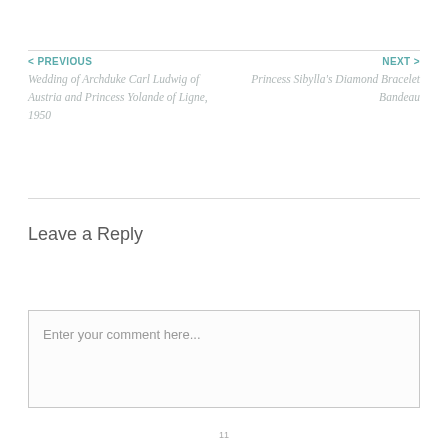< PREVIOUS
Wedding of Archduke Carl Ludwig of Austria and Princess Yolande of Ligne, 1950
NEXT >
Princess Sibylla's Diamond Bracelet Bandeau
Leave a Reply
Enter your comment here...